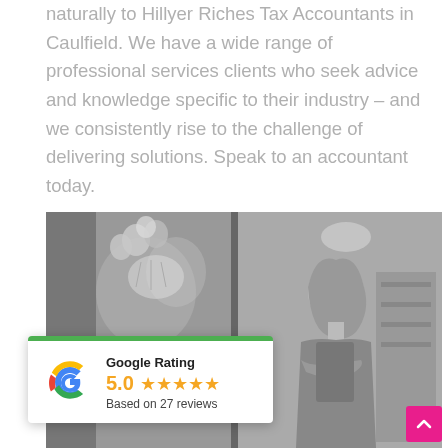naturally to Hillyer Riches Tax Accountants in Caulfield. We have a wide range of professional services clients who seek advice and knowledge specific to their industry – and we consistently rise to the challenge of delivering solutions. Speak to an accountant today.
[Figure (photo): Black and white split photo: left side shows a store interior with balloons and a chandelier; right side shows a young woman with crossed arms standing in what appears to be a retail store.]
Google Rating
5.0 ★★★★★
Based on 27 reviews